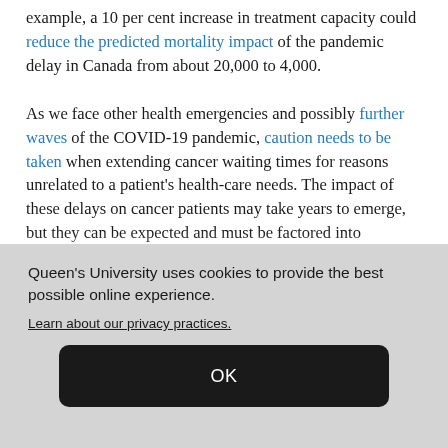example, a 10 per cent increase in treatment capacity could reduce the predicted mortality impact of the pandemic delay in Canada from about 20,000 to 4,000.

As we face other health emergencies and possibly further waves of the COVID-19 pandemic, caution needs to be taken when extending cancer waiting times for reasons unrelated to a patient's health-care needs. The impact of these delays on cancer patients may take years to emerge, but they can be expected and must be factored into decision-making priorities and protection...
Queen's University uses cookies to provide the best possible online experience.
Learn about our privacy practices.
OK